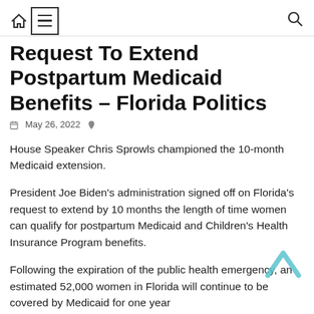Navigation header with home icon, menu icon, and search icon
Request To Extend Postpartum Medicaid Benefits – Florida Politics
May 26, 2022
House Speaker Chris Sprowls championed the 10-month Medicaid extension.
President Joe Biden’s administration signed off on Florida’s request to extend by 10 months the length of time women can qualify for postpartum Medicaid and Children’s Health Insurance Program benefits.
Following the expiration of the public health emergency, an estimated 52,000 women in Florida will continue to be covered by Medicaid for one year